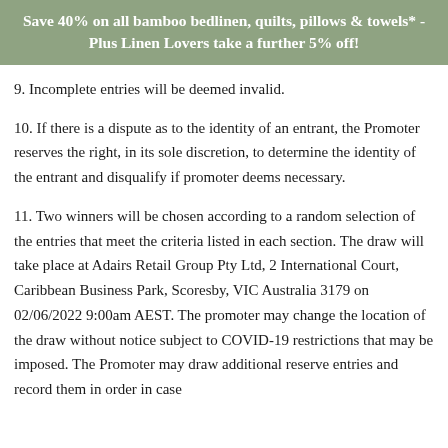Save 40% on all bamboo bedlinen, quilts, pillows & towels* - Plus Linen Lovers take a further 5% off!
9. Incomplete entries will be deemed invalid.
10. If there is a dispute as to the identity of an entrant, the Promoter reserves the right, in its sole discretion, to determine the identity of the entrant and disqualify if promoter deems necessary.
11. Two winners will be chosen according to a random selection of the entries that meet the criteria listed in each section. The draw will take place at Adairs Retail Group Pty Ltd, 2 International Court, Caribbean Business Park, Scoresby, VIC Australia 3179 on 02/06/2022 9:00am AEST. The promoter may change the location of the draw without notice subject to COVID-19 restrictions that may be imposed. The Promoter may draw additional reserve entries and record them in order in case